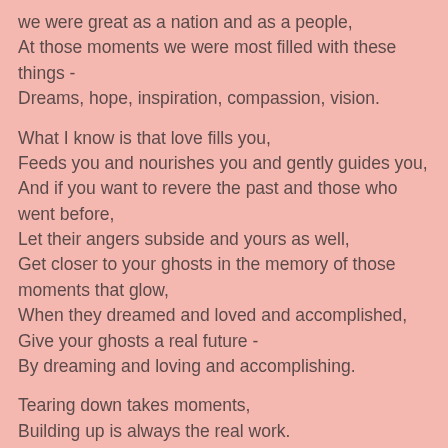we were great as a nation and as a people,
At those moments we were most filled with these things -
Dreams, hope, inspiration, compassion, vision.
What I know is that love fills you,
Feeds you and nourishes you and gently guides you,
And if you want to revere the past and those who went before,
Let their angers subside and yours as well,
Get closer to your ghosts in the memory of those moments that glow,
When they dreamed and loved and accomplished,
Give your ghosts a real future -
By dreaming and loving and accomplishing.
Tearing down takes moments,
Building up is always the real work.
What is it you birth?
Who will fill this world?
AquarianM